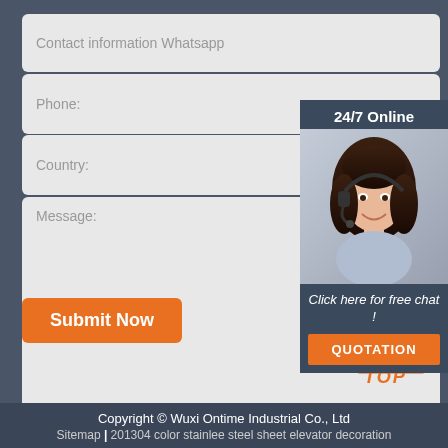Contact information Whatsapp
Phone:
Country:
Message:
[Figure (photo): Customer service representative with headset, 24/7 Online chat box with QUOTATION button]
Submit Now
[Figure (logo): TOP logo with orange triangle/dots icon]
Copyright © Wuxi Ontime Industrial Co., Ltd
Sitemap | 201304 color stainlee steel sheet elevator decoration